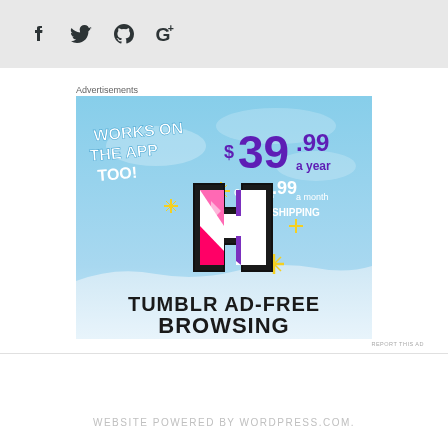[Figure (logo): Social media icons: Facebook, Twitter, GitHub, Google+ in dark color on gray background]
Advertisements
[Figure (infographic): Tumblr Ad-Free Browsing advertisement. Blue sky background with Tumblr 't' logo. Text: WORKS ON THE APP TOO! $39.99 a year or $4.99 a month + FREE SHIPPING. TUMBLR AD-FREE BROWSING]
REPORT THIS AD
WEBSITE POWERED BY WORDPRESS.COM.